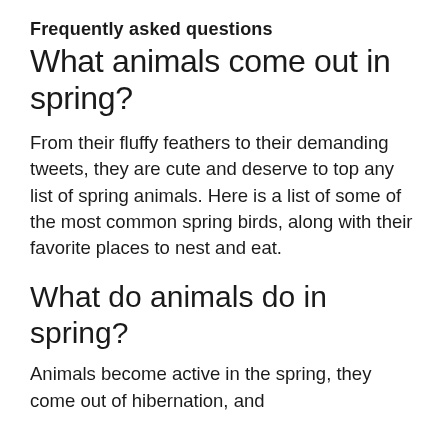Frequently asked questions
What animals come out in spring?
From their fluffy feathers to their demanding tweets, they are cute and deserve to top any list of spring animals. Here is a list of some of the most common spring birds, along with their favorite places to nest and eat.
What do animals do in spring?
Animals become active in the spring, they come out of hibernation, and